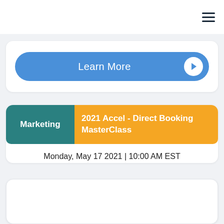[Figure (screenshot): Hamburger menu icon (three horizontal lines) in top-right corner navigation bar]
[Figure (screenshot): Blue 'Learn More' button with white arrow icon on right, inside a white card]
Marketing
2021 Accel - Direct Booking MasterClass
Monday, May 17 2021 | 10:00 AM EST
[Figure (screenshot): Empty white card with rounded corners and border]